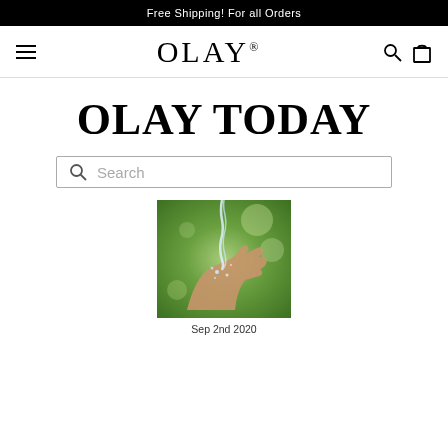Free Shipping! For all Orders
[Figure (logo): Olay brand logo and navigation bar with hamburger menu, OLAY wordmark, search icon, and cart icon]
OLAY TODAY
Search
[Figure (photo): A hand catching water droplets falling from above, with a green bokeh background]
Sep 2nd 2020